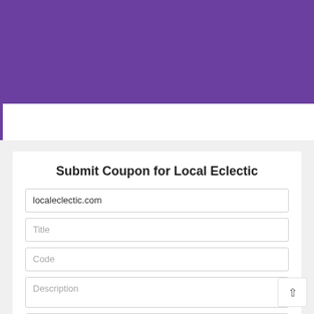[Figure (screenshot): Purple header banner at top of page]
Finishrs 12:11
Submit Coupon for Local Eclectic
localeclectic.com
Title
Code
Description
Expiration
Submit